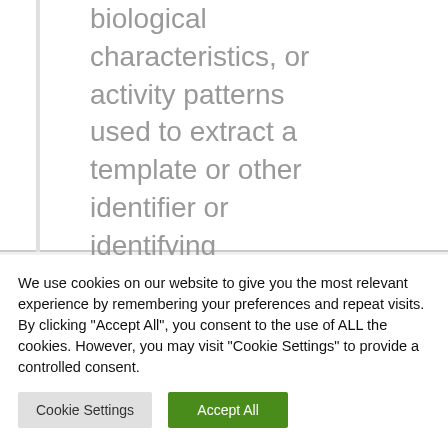biological characteristics, or activity patterns used to extract a template or other identifier or identifying information, such as fingerprints, faceprints, and
We use cookies on our website to give you the most relevant experience by remembering your preferences and repeat visits. By clicking "Accept All", you consent to the use of ALL the cookies. However, you may visit "Cookie Settings" to provide a controlled consent.